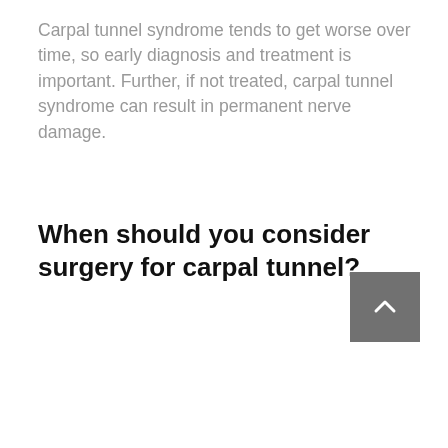Carpal tunnel syndrome tends to get worse over time, so early diagnosis and treatment is important. Further, if not treated, carpal tunnel syndrome can result in permanent nerve damage.
When should you consider surgery for carpal tunnel?